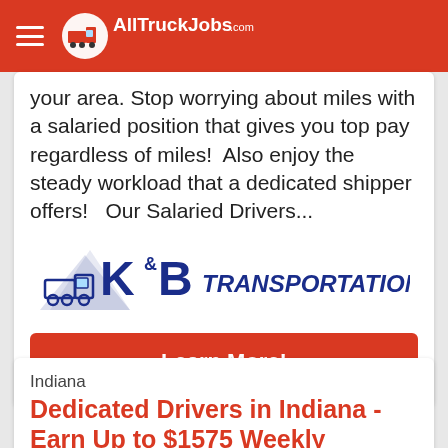AllTruckJobs.com
your area. Stop worrying about miles with a salaried position that gives you top pay regardless of miles!  Also enjoy the steady workload that a dedicated shipper offers!   Our Salaried Drivers...
[Figure (logo): K&B Transportation, Inc. logo with truck graphic and blue text]
Learn More!
Indiana
Dedicated Drivers in Indiana - Earn Up to $1575 Weekly
K&B Transportation
posted today
K&B Transportation is hiring dedicated drivers in